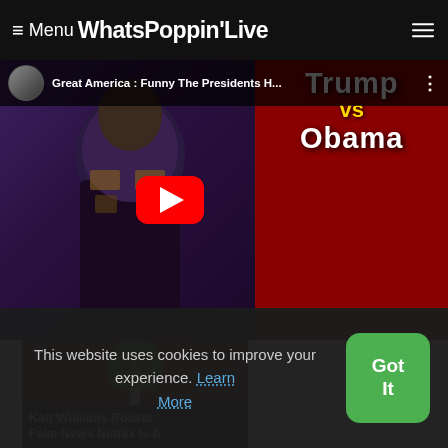≡ Menu WhatsPoppinʼLive
[Figure (screenshot): YouTube video thumbnail: 'Great America : Funny The Presidents H...' showing a person in an ornate jacket on the left side, and a red background with white text 'Trump vs Obama' (Trump in white, vs in yellow, Obama in white) on the right. A red YouTube play button is centered over the thumbnail.]
[Figure (screenshot): Thumbnail card: 'Katt Williams Roasts Fake News Netflix Is A' with a green mask figure on a dark red background.]
This website uses cookies to improve your experience. Learn More
Got It